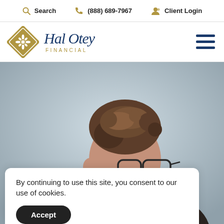Search  (888) 689-7967  Client Login
[Figure (logo): Hal Otey Financial logo with diamond emblem and script text]
[Figure (photo): Man with curly hair and glasses seen from behind/side, blurred background]
By continuing to use this site, you consent to our use of cookies.
Accept